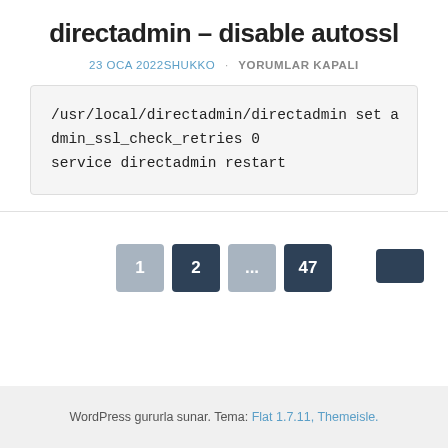directadmin – disable autossl
23 OCA 2022 SHUKKO · YORUMLAR KAPALI
/usr/local/directadmin/directadmin set admin_ssl_check_retries 0
service directadmin restart
1 2 ... 47
WordPress gururla sunar. Tema: Flat 1.7.11, Themeisle.